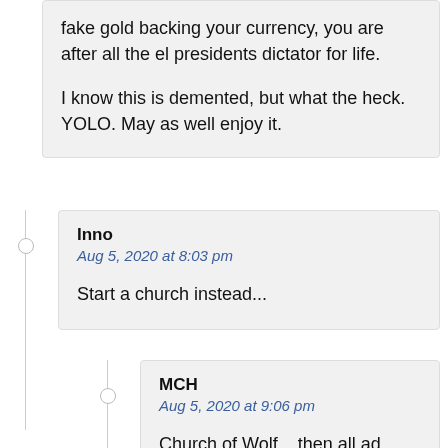fake gold backing your currency, you are after all the el presidents dictator for life.

I know this is demented, but what the heck. YOLO. May as well enjoy it.
Inno
Aug 5, 2020 at 8:03 pm
Start a church instead...
MCH
Aug 5, 2020 at 9:06 pm
Church of Wolf... then all ad proceeds can be considered tax exempt under